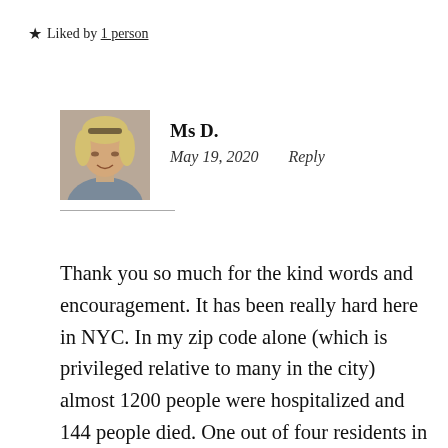★ Liked by 1 person
Ms D.
May 19, 2020    Reply
Thank you so much for the kind words and encouragement. It has been really hard here in NYC. In my zip code alone (which is privileged relative to many in the city) almost 1200 people were hospitalized and 144 people died. One out of four residents in the random testing being conducted have been positive. Reading about folks in other parts of the country so